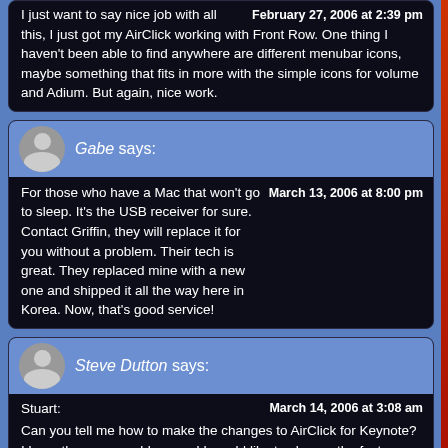I just want to say nice job with all this, I just got my AirClick working with Front Row. One thing I haven't been able to find anywhere are different menubar icons, maybe something that fits in more with the simple icons for volume and Adium. But again, nice work. — February 27, 2006 at 2:39 pm
Gabe says: For those who have a Mac that won't go to sleep. It's the USB receiver for sure. Contact Griffin, they will replace it for you without a problem. Their tech is great. They replaced mine with a new one and shipped it all the way here in Korea. Now, that's good service! — March 13, 2006 at 8:00 pm
Steve Dutton says: Stuart: Can you tell me how to make the changes to AirClick for Keynote? I have the same problem, and I would like to change the fast forward/fast rewind to next/previous. Thanks. — March 14, 2006 at 3:08 am
Ekoli says: Can the modifier fuction actually be used? I'm using the hack hosted my — March 19, 2006 at 9:32 am